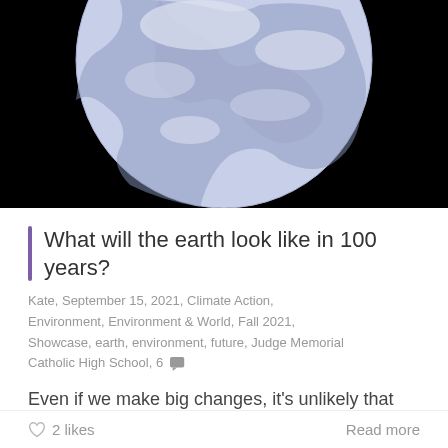[Figure (photo): Photograph of Earth from space against a black background, showing the globe partially visible at the top]
What will the earth look like in 100 years?
Kate, September 15, 2021, Climate Action, Environment, Environment & World, Fall 2021, Showcase, earth, environment, future, Judge Memorial Catholic High School, 6 [comments icon]
Even if we make big changes, it's unlikely that climate change will completely end. In 100 years, oceans will…
♡ 2 likes
Read more